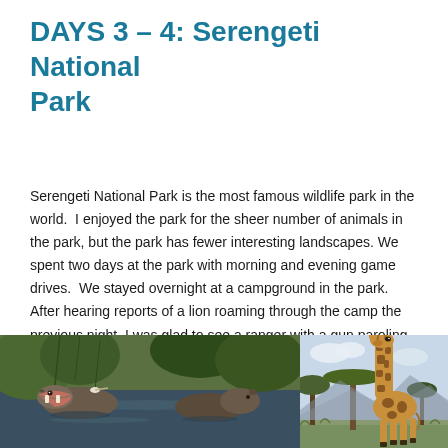DAYS 3 – 4: Serengeti National Park
Serengeti National Park is the most famous wildlife park in the world.  I enjoyed the park for the sheer number of animals in the park, but the park has fewer interesting landscapes. We spent two days at the park with morning and evening game drives.  We stayed overnight at a campground in the park.  After hearing reports of a lion roaming through the camp the previous night, I was glad to see a ranger with a gun paroling the perimeter.
[Figure (photo): Hippos in a river at Serengeti National Park]
[Figure (photo): Giraffe standing among trees at Serengeti National Park]